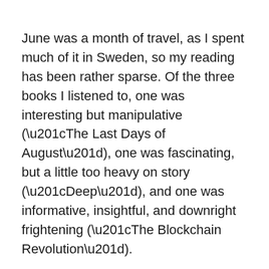June was a month of travel, as I spent much of it in Sweden, so my reading has been rather sparse. Of the three books I listened to, one was interesting but manipulative (“The Last Days of August”), one was fascinating, but a little too heavy on story (“Deep”), and one was informative, insightful, and downright frightening (“The Blockchain Revolution”).
“The Blockchain Revolution” by Don Tapscott & Alex Tapscott is my favorite of the three. It goes into great detail to describe the blockchain, and how it can be used for many different purposes beyond